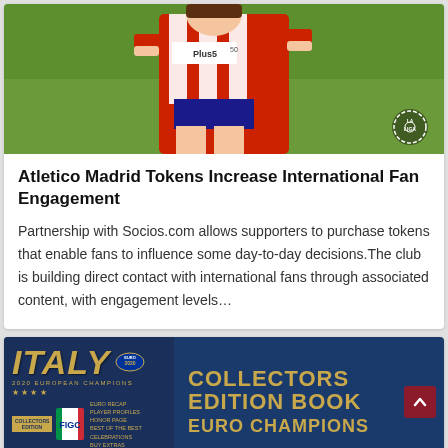[Figure (photo): Soccer player in red and white striped jersey with Plus500 sponsor, running on a green pitch. La Liga logo visible bottom right.]
Atletico Madrid Tokens Increase International Fan Engagement
Partnership with Socios.com allows supporters to purchase tokens that enable fans to influence some day-to-day decisions.The club is building direct contact with international fans through associated content, with engagement levels…
[Figure (photo): Advertisement banner: Left side shows 'ITALY 2020 European Champions Collectors Edition' book cover with UEFA Euro 2020 branding and Italian football federation badge. Right side shows text: 'COLLECTORS EDITION BOOK EURO CHAMPIONS' in gold on blue background.]